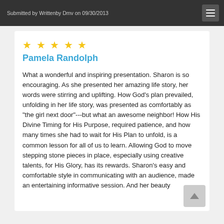Submitted by Writtenby Dmv on 09/30/2013
Pamela Randolph
What a wonderful and inspiring presentation. Sharon is so encouraging. As she presented her amazing life story, her words were stirring and uplifting. How God's plan prevailed, unfolding in her life story, was presented as comfortably as "the girl next door"---but what an awesome neighbor! How His Divine Timing for His Purpose, required patience, and how many times she had to wait for His Plan to unfold, is a common lesson for all of us to learn. Allowing God to move stepping stone pieces in place, especially using creative talents, for His Glory, has its rewards. Sharon's easy and comfortable style in communicating with an audience, made an entertaining informative session. And her beauty